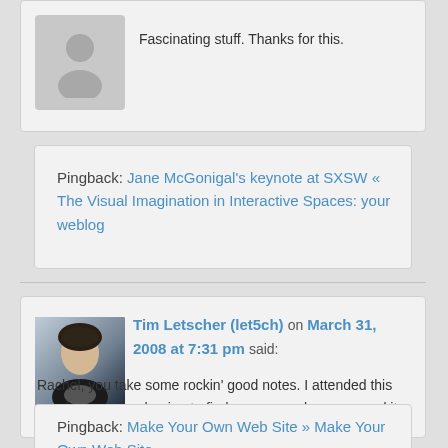Fascinating stuff. Thanks for this.
Pingback: Jane McGonigal's keynote at SXSW « The Visual Imagination in Interactive Spaces: your weblog
Tim Letscher (let5ch) on March 31, 2008 at 7:31 pm said:
Rachel, you take some rockin' good notes. I attended this session and was hoping to find someone who re-capped it well. Thanks!
Pingback: Make Your Own Web Site » Make Your Own Web Site